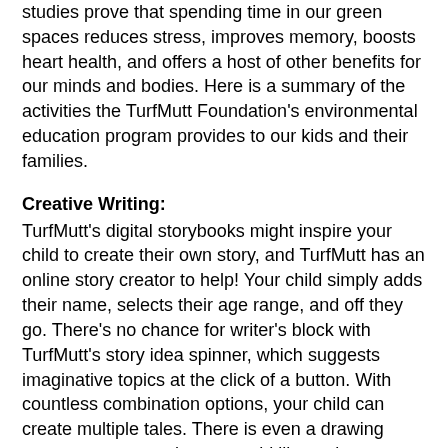studies prove that spending time in our green spaces reduces stress, improves memory, boosts heart health, and offers a host of other benefits for our minds and bodies. Here is a summary of the activities the TurfMutt Foundation's environmental education program provides to our kids and their families.
Creative Writing:
TurfMutt's digital storybooks might inspire your child to create their own story, and TurfMutt has an online story creator to help! Your child simply adds their name, selects their age range, and off they go. There's no chance for writer's block with TurfMutt's story idea spinner, which suggests imaginative topics at the click of a button. With countless combination options, your child can create multiple tales. There is even a drawing screen so your student can add illustrations.
Outdoor-Themed Activity Sheets for Kids in Grades K-8:
The TurfMutt activity sheets are where the screen time ends. The hands-on TurfMutt activities are based on STEM (science, technology, engineering and math) principles and prompt kids to go outside to learn about the green space around them.